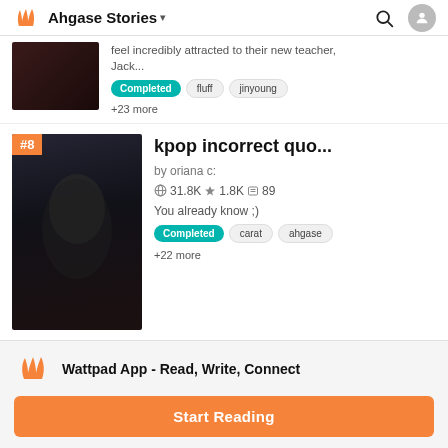Ahgase Stories
feel incredibly attracted to their new teacher, Jack...
Completed  fluff  jinyoung  +23 more
kpop incorrect quo...
by oriana c:
31.8K  1.8K  89
You already know ;)
Completed  carat  ahgase  +22 more
Wattpad App - Read, Write, Connect
Start Reading
Log in with Browser